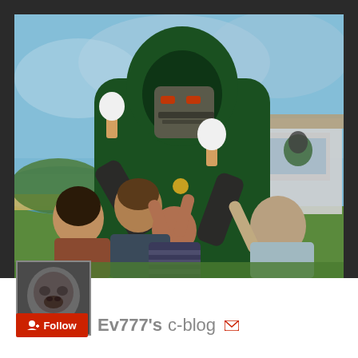[Figure (illustration): Painting of a large armored figure in a dark green hooded cloak and metal mask (resembling Doctor Doom from Marvel Comics) holding ice cream cones in both gauntleted hands, with several children reaching up toward him eagerly. Background shows a coastal beach scene with blue sky and water on the left, and an ice cream stand on the right. Art style is painterly/illustrative.]
[Figure (photo): Small avatar thumbnail photo of a bald man with a grotesque or monstrous face, shown in black and white/grayscale tones, positioned in the lower-left corner overlapping the main illustration.]
+ Follow
Ev777's c-blog